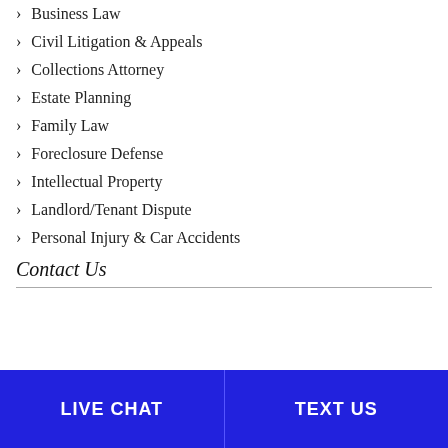Business Law
Civil Litigation & Appeals
Collections Attorney
Estate Planning
Family Law
Foreclosure Defense
Intellectual Property
Landlord/Tenant Dispute
Personal Injury & Car Accidents
Contact Us
LIVE CHAT
TEXT US